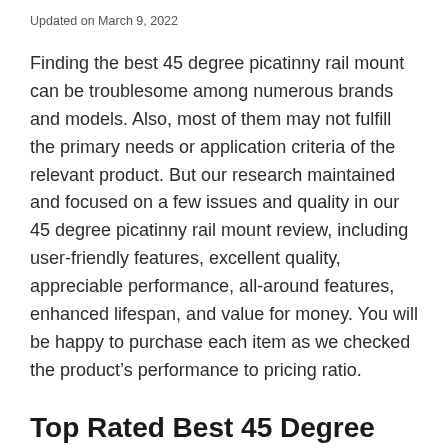Updated on March 9, 2022
Finding the best 45 degree picatinny rail mount can be troublesome among numerous brands and models. Also, most of them may not fulfill the primary needs or application criteria of the relevant product. But our research maintained and focused on a few issues and quality in our 45 degree picatinny rail mount review, including user-friendly features, excellent quality, appreciable performance, all-around features, enhanced lifespan, and value for money. You will be happy to purchase each item as we checked the product's performance to pricing ratio.
Top Rated Best 45 Degree